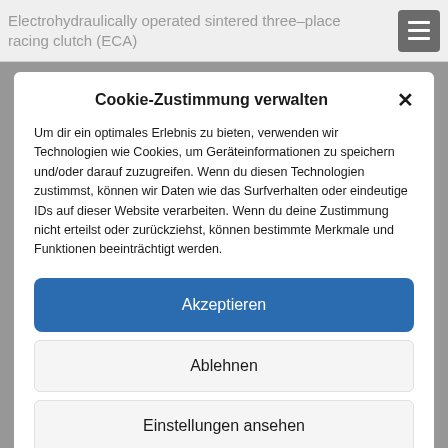Electrohydraulically operated sintered three–place racing clutch (ECA)
Cookie-Zustimmung verwalten
Um dir ein optimales Erlebnis zu bieten, verwenden wir Technologien wie Cookies, um Geräteinformationen zu speichern und/oder darauf zuzugreifen. Wenn du diesen Technologien zustimmst, können wir Daten wie das Surfverhalten oder eindeutige IDs auf dieser Website verarbeiten. Wenn du deine Zustimmung nicht erteilst oder zurückziehst, können bestimmte Merkmale und Funktionen beeinträchtigt werden.
Akzeptieren
Ablehnen
Einstellungen ansehen
Privacy Policy   Imprint and Legal Notice